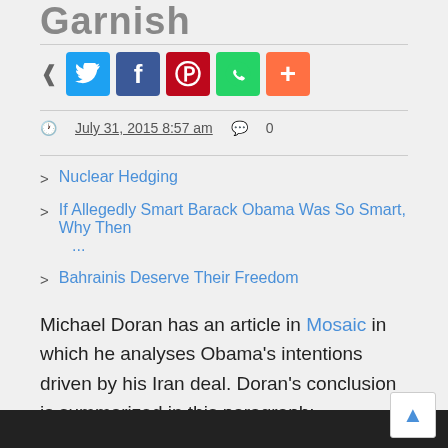Garnish
[Figure (other): Social sharing buttons row: share icon, Twitter, Facebook, Pinterest, WhatsApp, More (+)]
July 31, 2015 8:57 am   0
Nuclear Hedging
If Allegedly Smart Barack Obama Was So Smart, Why Then ...
Bahrainis Deserve Their Freedom
Michael Doran has an article in Mosaic in which he analyses Obama's intentions driven by his Iran deal. Doran's conclusion is summarized in this paragraph: